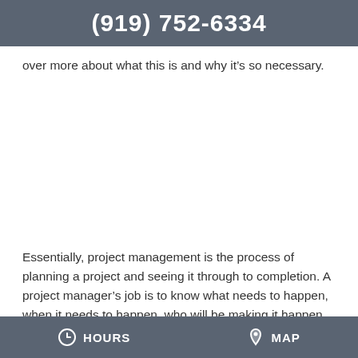(919) 752-6334
over more about what this is and why it’s so necessary.
Essentially, project management is the process of planning a project and seeing it through to completion. A project manager’s job is to know what needs to happen, when it needs to happen, who will be making it happen, and what resources they need to do so, in order to meet the project’s goal. In a construction
HOURS   MAP